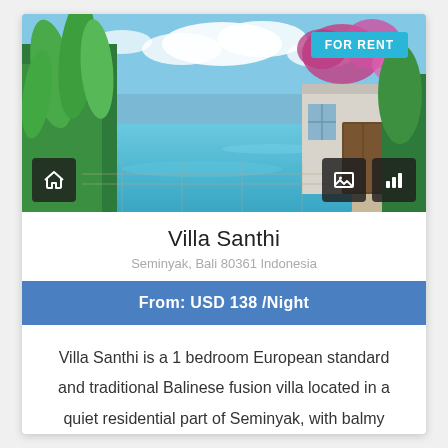[Figure (photo): Outdoor swimming pool with tropical garden greenery, bougainvillea flowers, and a villa building in the background under a blue sky with clouds]
Villa Santhi
Seminyak, Bali 80361 Indonesia
From: USD 138 /Night
Villa Santhi is a 1 bedroom European standard and traditional Balinese fusion villa located in a quiet residential part of Seminyak, with balmy evenings...